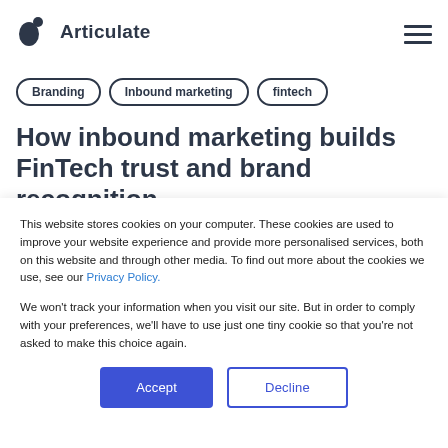Articulate
Branding
Inbound marketing
fintech
How inbound marketing builds FinTech trust and brand recognition
This website stores cookies on your computer. These cookies are used to improve your website experience and provide more personalised services, both on this website and through other media. To find out more about the cookies we use, see our Privacy Policy.

We won't track your information when you visit our site. But in order to comply with your preferences, we'll have to use just one tiny cookie so that you're not asked to make this choice again.
Accept
Decline